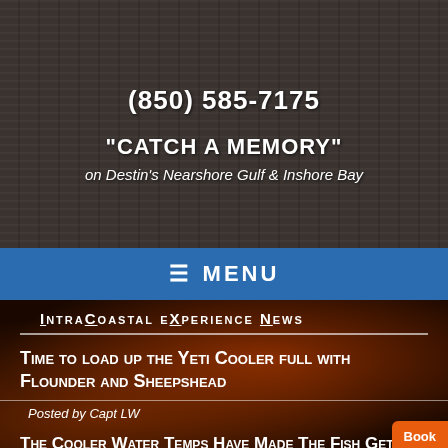(850) 585-7175
"CATCH A MEMORY"
on Destin's Nearshore Gulf & Inshore Bay
MENU
IntraCoastal eXperience News
Time to load up the Yeti Cooler full with Flounder and Sheepshead
Posted by Capt LW
The Cooler Water Temps Have Made The Fish Get On The Move In and Around the Destin Inshore!